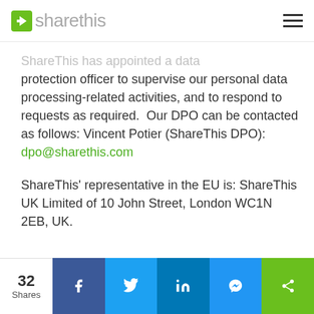sharethis
ShareThis has appointed a data protection officer to supervise our personal data processing-related activities, and to respond to requests as required.  Our DPO can be contacted as follows: Vincent Potier (ShareThis DPO): dpo@sharethis.com
ShareThis' representative in the EU is: ShareThis UK Limited of 10 John Street, London WC1N 2EB, UK.
32 Shares | Facebook | Twitter | LinkedIn | Messenger | ShareThis